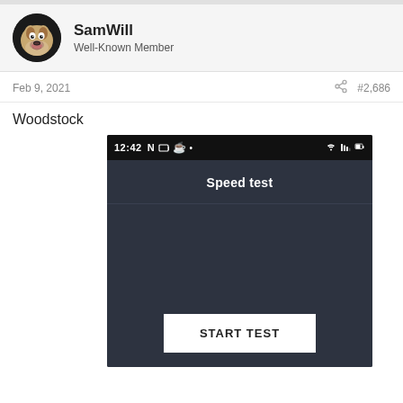SamWill
Well-Known Member
Feb 9, 2021  #2,686
Woodstock
[Figure (screenshot): Android phone screenshot showing a Speed test app with a dark background, status bar showing 12:42, and a START TEST button at the bottom.]